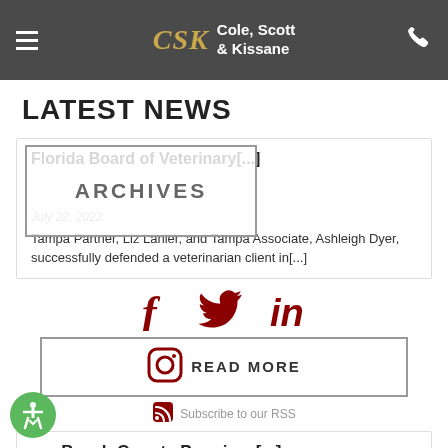CSK Cole, Scott & Kissane
LATEST NEWS
ARCHIVES
Florida Board of Veterinary[...]
July 22, 2022
Tampa Partner, Liz Lanier, and Tampa Associate, Ashleigh Dyer, successfully defended a veterinarian client in[...]
[Figure (logo): Facebook icon in dark red]
[Figure (logo): Twitter bird icon in dark red]
[Figure (logo): Instagram camera icon in dark red with READ MORE text]
[Figure (logo): LinkedIn 'in' icon in dark red]
[Figure (logo): RSS feed icon in dark red with Subscribe to our RSS text]
READ MORE
Subscribe to our RSS
um Beach County Premises[...]